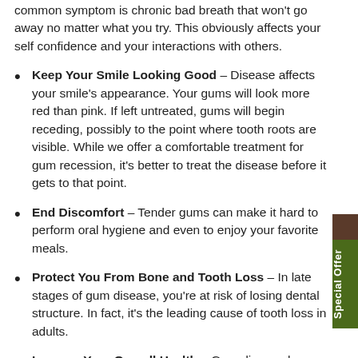common symptom is chronic bad breath that won't go away no matter what you try. This obviously affects your self confidence and your interactions with others.
Keep Your Smile Looking Good – Disease affects your smile's appearance. Your gums will look more red than pink. If left untreated, gums will begin receding, possibly to the point where tooth roots are visible. While we offer a comfortable treatment for gum recession, it's better to treat the disease before it gets to that point.
End Discomfort – Tender gums can make it hard to perform oral hygiene and even to enjoy your favorite meals.
Protect You From Bone and Tooth Loss – In late stages of gum disease, you're at risk of losing dental structure. In fact, it's the leading cause of tooth loss in adults.
Improve Your Overall Health – Gum disease has been linked to numerous adverse health